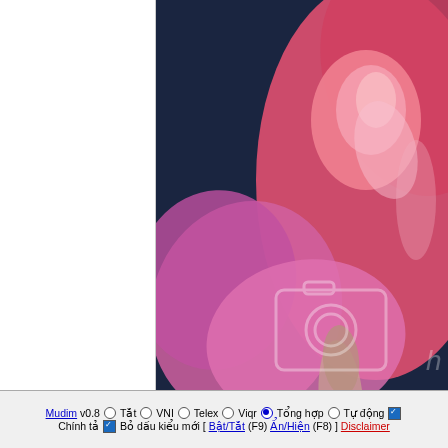[Figure (photo): Screenshot of a website showing a pink rose photograph on the right side and a white blank panel on the left, with a Vietnamese input method toolbar at the bottom.]
Mudim v0.8  Tắt  VNI  Telex  Viqr  Tổng hợp  Tự động  Chính tả  Bỏ dấu kiểu mới [ Bật/Tắt (F9) Ẩn/Hiện (F8) ] Disclaimer